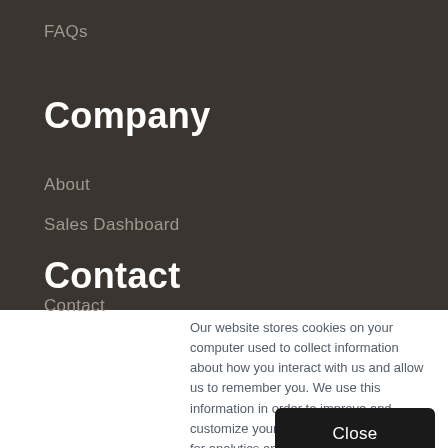FAQs
Company
About
Sales Dashboard
Contact
Contact
Our website stores cookies on your computer used to collect information about how you interact with us and allow us to remember you. We use this information in order to improve and customize your browsing experience and for analytics and metrics about our visitors both on this website and other media.
Close